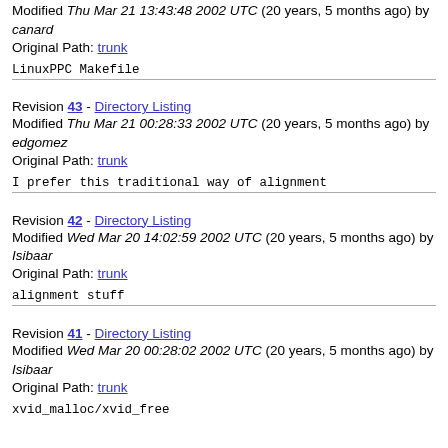Modified Thu Mar 21 13:43:48 2002 UTC (20 years, 5 months ago) by canard
Original Path: trunk
LinuxPPC Makefile
Revision 43 - Directory Listing
Modified Thu Mar 21 00:28:33 2002 UTC (20 years, 5 months ago) by edgomez
Original Path: trunk
I prefer this traditional way of alignment
Revision 42 - Directory Listing
Modified Wed Mar 20 14:02:59 2002 UTC (20 years, 5 months ago) by Isibaar
Original Path: trunk
alignment stuff
Revision 41 - Directory Listing
Modified Wed Mar 20 00:28:02 2002 UTC (20 years, 5 months ago) by Isibaar
Original Path: trunk
xvid_malloc/xvid_free